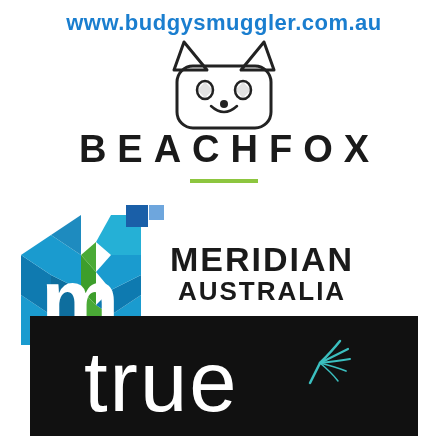[Figure (logo): www.budgysmuggler.com.au URL text in blue above a BeachFox fox-face icon logo (rounded square with ears, eyes, nose outline)]
[Figure (logo): BEACHFOX text logo in bold black wide-spaced capitals with a green underline]
[Figure (logo): Meridian Australia logo with mosaic M icon made of blue and green triangles and two small blue squares, next to MERIDIAN AUSTRALIA text in bold black]
[Figure (logo): true logo — lowercase white 'true' with a teal leaf/feather accent, on a black rectangular background]